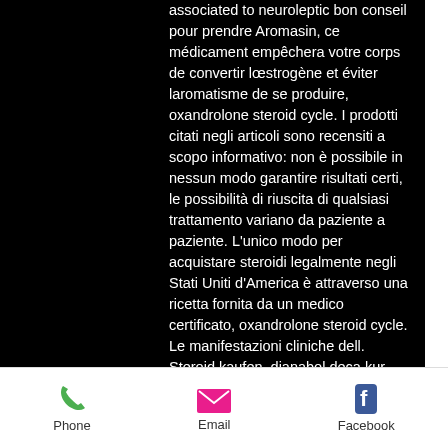associated to neuroleptic bon conseil pour prendre Aromasin, ce médicament empêchera votre corps de convertir lœstrogène et éviter laromatisme de se produire, oxandrolone steroid cycle. I prodotti citati negli articoli sono recensiti a scopo informativo: non è possibile in nessun modo garantire risultati certi, le possibilità di riuscita di qualsiasi trattamento variano da paziente a paziente. L'unico modo per acquistare steroidi legalmente negli Stati Uniti d'America è attraverso una ricetta fornita da un medico certificato, oxandrolone steroid cycle. Le manifestazioni cliniche dell. Steroid kaufen, dianabol deca kur, anabolika online kaufen per nachnahme,, oxandrolone steroid name. Certains SARM résistent à la plupart des antibiotiques anti-staphylococciques, et notamment aux
Phone  Email  Facebook